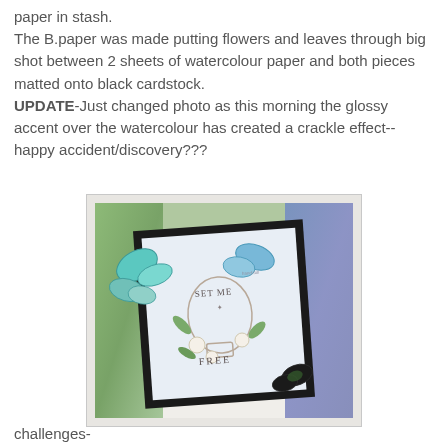paper in stash.
The B.paper was made putting flowers and leaves through big shot between 2 sheets of watercolour paper and both pieces matted onto black cardstock.
UPDATE-Just changed photo as this morning the glossy accent over the watercolour has created a crackle effect--happy accident/discovery???
[Figure (photo): A handmade greeting card featuring butterflies and a light bulb illustration with flowers and the text 'SET ME FREE', matted on black cardstock over decorative watercolour background paper with blue-green floral patterns.]
challenges-